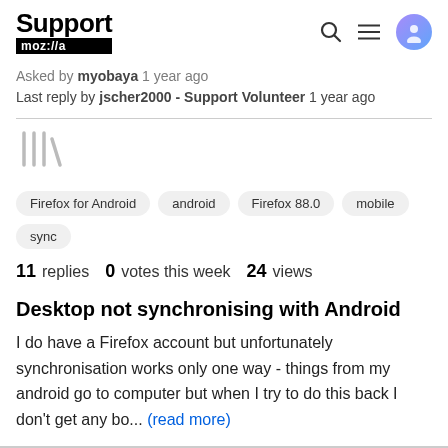Support mozilla//a
Asked by myobaya 1 year ago
Last reply by jscher2000 - Support Volunteer 1 year ago
[Figure (illustration): Library/bookmark icon in light gray]
Firefox for Android   android   Firefox 88.0   mobile   sync
11 replies   0 votes this week   24 views
Desktop not synchronising with Android
I do have a Firefox account but unfortunately synchronisation works only one way - things from my android go to computer but when I try to do this back I don't get any bo... (read more)